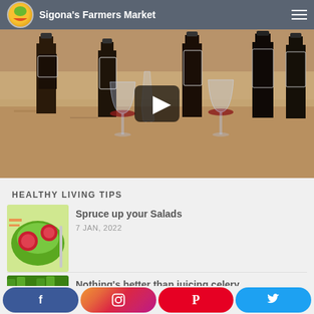Sigona's Farmers Market
[Figure (screenshot): Video thumbnail showing wine bottles and glasses on a kitchen counter with a play button overlay]
HEALTHY LIVING TIPS
[Figure (photo): Salad with citrus fruits including blood orange slices]
Spruce up your Salads
7 JAN, 2022
[Figure (photo): Green celery stalks]
Nothing's better than juicing celery
f  Instagram  P  Twitter